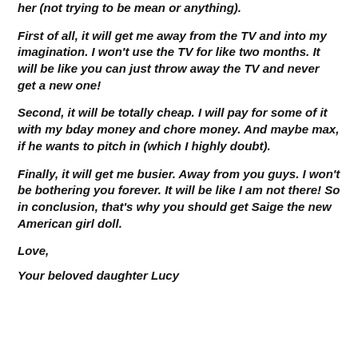her (not trying to be mean or anything).
First of all, it will get me away from the TV and into my imagination. I won't use the TV for like two months. It will be like you can just throw away the TV and never get a new one!
Second, it will be totally cheap. I will pay for some of it with my bday money and chore money. And maybe max, if he wants to pitch in (which I highly doubt).
Finally, it will get me busier. Away from you guys. I won't be bothering you forever. It will be like I am not there! So in conclusion, that's why you should get Saige the new American girl doll.
Love,
Your beloved daughter Lucy